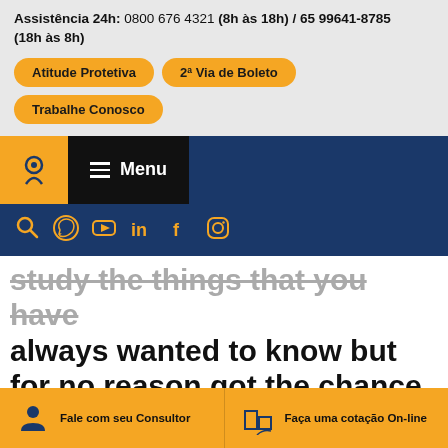Assistência 24h: 0800 676 4321 (8h às 18h) / 65 99641-8785 (18h às 8h)
Atitude Protetiva
2ª Via de Boleto
Trabalhe Conosco
[Figure (logo): Navigation bar with logo icon and Menu button with hamburger lines]
[Figure (illustration): Row of social media icons: search, WhatsApp, YouTube, LinkedIn, Facebook, Instagram]
study the things that you have always wanted to know but for no reason got the chance to due to the fact that you do not have [le t...]
Fale com seu Consultor
Faça uma cotação On-line